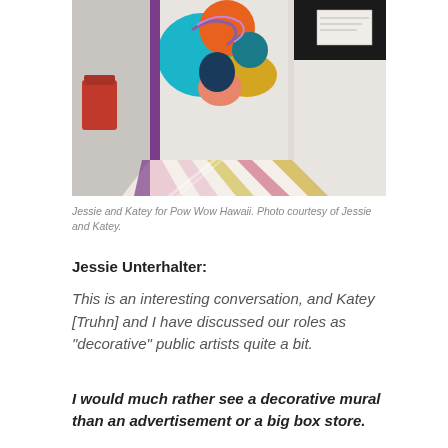[Figure (photo): Street mural on a building exterior and ground, featuring colorful abstract shapes in orange, teal, blue, yellow, and pink. The mural extends from the wall onto the pavement with linear geometric patterns.]
Jessie and Katey for Pow Wow Hawaii. Photo courtesy of Jessie and Katey.
Jessie Unterhalter:
This is an interesting conversation, and Katey [Truhn] and I have discussed our roles as “decorative” public artists quite a bit.
I would much rather see a decorative mural than an advertisement or a big box store.